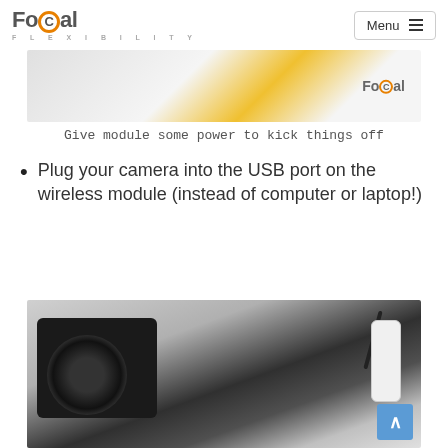FoCal  Menu
[Figure (photo): Partial image of FoCal branding with yellow/gold element visible, FoCal logo on right side]
Give module some power to kick things off
Plug your camera into the USB port on the wireless module (instead of computer or laptop!)
[Figure (photo): DSLR camera connected via USB cable to a small white wireless module, photographed from above on white background]